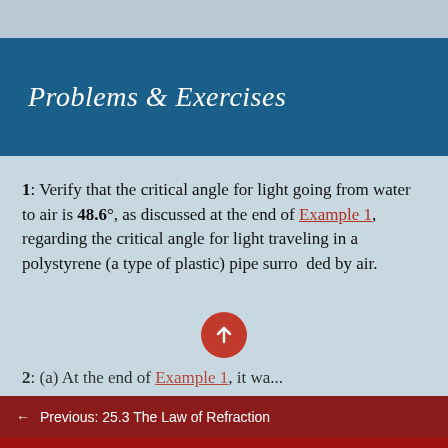Problems & Exercises
1: Verify that the critical angle for light going from water to air is 48.6°, as discussed at the end of Example 1, regarding the critical angle for light traveling in a polystyrene (a type of plastic) pipe surrounded by air.
← Previous: 25.3 The Law of Refraction
Next: 25.5 Dispersion: The Rainbow and Prisms →